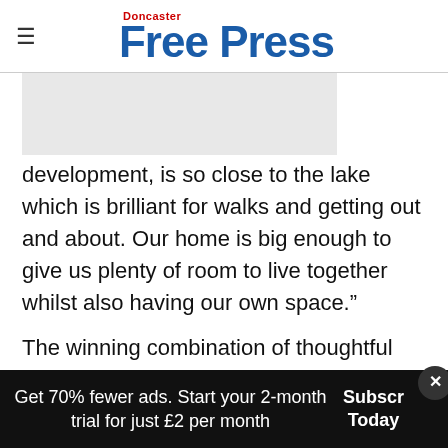Doncaster Free Press
[Figure (photo): Placeholder image area (grey rectangle), partially visible article image]
development, is so close to the lake which is brilliant for walks and getting out and about. Our home is big enough to give us plenty of room to live together whilst also having our own space.”
The winning combination of thoughtful design, beautiful craftsmanship and a stunning waterside location have resonated with local
Get 70% fewer ads. Start your 2-month trial for just £2 per month Subscribe Today